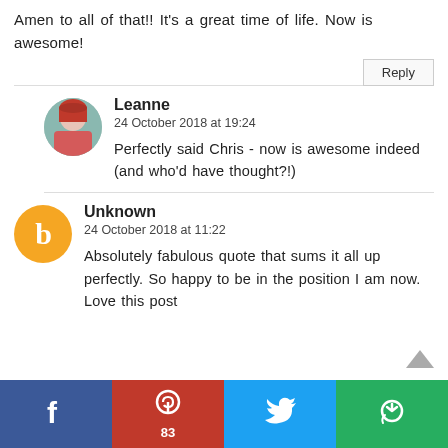Amen to all of that!! It's a great time of life. Now is awesome!
Reply
Leanne
24 October 2018 at 19:24
Perfectly said Chris - now is awesome indeed (and who'd have thought?!)
Unknown
24 October 2018 at 11:22
Absolutely fabulous quote that sums it all up perfectly. So happy to be in the position I am now. Love this post
[Figure (infographic): Social sharing bar with Facebook (blue), Pinterest (red, count 83), Twitter (blue), and a green more/share button]